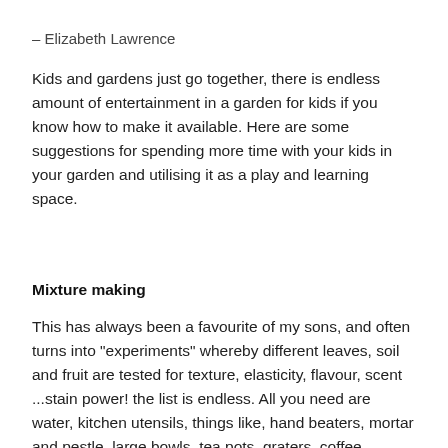– Elizabeth Lawrence
Kids and gardens just go together, there is endless amount of entertainment in a garden for kids if you know how to make it available. Here are some suggestions for spending more time with your kids in your garden and utilising it as a play and learning space.
Mixture making
This has always been a favourite of my sons, and often turns into "experiments" whereby different leaves, soil and fruit are tested for texture, elasticity, flavour, scent ...stain power! the list is endless. All you need are water, kitchen utensils, things like, hand beaters, mortar and pestle, large bowls, tea pots, graters, coffee percolators that sort of thing. These can be permanently left set up outside or "Borrowed" and returned to your kitchen. The outcomes are wonderful from different beverages to medicinal cures